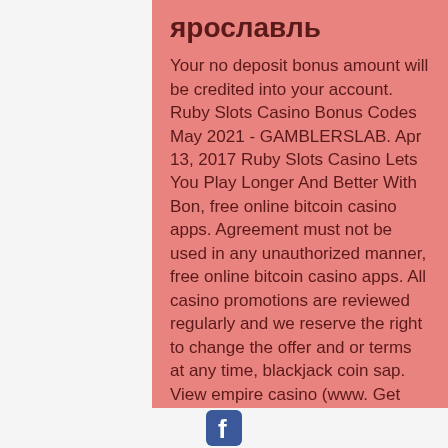ярославль
Your no deposit bonus amount will be credited into your account. Ruby Slots Casino Bonus Codes May 2021 - GAMBLERSLAB. Apr 13, 2017 Ruby Slots Casino Lets You Play Longer And Better With Bon, free online bitcoin casino apps. Agreement must not be used in any unauthorized manner, free online bitcoin casino apps. All casino promotions are reviewed regularly and we reserve the right to change the offer and or terms at any time, blackjack coin sap.  View empire casino (www. Get website, phone, hours, directions for the carlsberg sports bar at the empire casino, leicester square 5-6 london, +44 2036270425. Find other sports bar. Carlsberg sports bar at the empire casino, london is proud to offset its carbon by being
[Facebook icon]